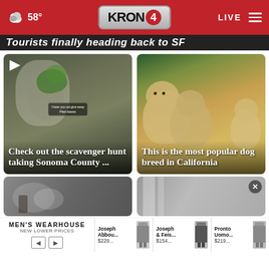58° KRON4 LIVE
Tourists finally heading back to SF
[Figure (screenshot): Video thumbnail of a stone or rock creature holding plants with caption overlay 'I have you out give away Plant leaves']
Check out the scavenger hunt taking Sonoma County ...
[Figure (photo): Photo of golden retriever puppies]
This is the most popular dog breed in California
[Figure (screenshot): Partial bottom card left - smoky outdoor scene]
[Figure (screenshot): Partial bottom card right with close button]
[Figure (infographic): Men's Wearhouse advertisement with Joseph Abbou $229, Joseph & Feis $154, Pronto Uomo $219]